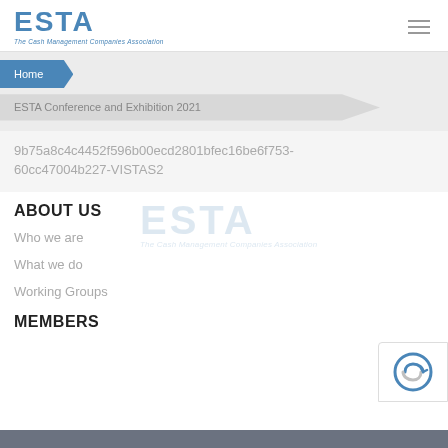[Figure (logo): ESTA - The Cash Management Companies Association logo in blue]
[Figure (other): Hamburger menu icon (three horizontal lines)]
Home
ESTA Conference and Exhibition 2021
9b75a8c4c4452f596b00ecd2801bfec16be6f753-
60cc47004b227-VISTAS2
[Figure (logo): ESTA watermark logo - The Cash Management Companies Association, light blue transparent]
ABOUT US
Who we are
What we do
Working Groups
MEMBERS